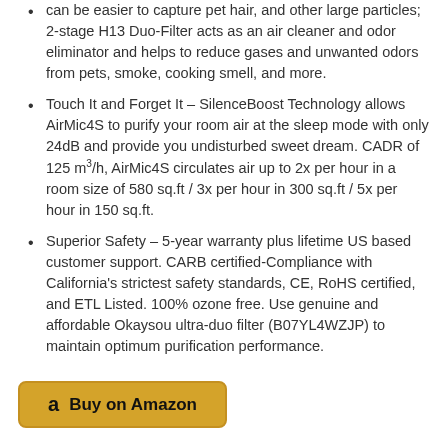can be easier to capture pet hair, and other large particles; 2-stage H13 Duo-Filter acts as an air cleaner and odor eliminator and helps to reduce gases and unwanted odors from pets, smoke, cooking smell, and more.
Touch It and Forget It – SilenceBoost Technology allows AirMic4S to purify your room air at the sleep mode with only 24dB and provide you undisturbed sweet dream. CADR of 125 m³/h, AirMic4S circulates air up to 2x per hour in a room size of 580 sq.ft / 3x per hour in 300 sq.ft / 5x per hour in 150 sq.ft.
Superior Safety – 5-year warranty plus lifetime US based customer support. CARB certified-Compliance with California's strictest safety standards, CE, RoHS certified, and ETL Listed. 100% ozone free. Use genuine and affordable Okaysou ultra-duo filter (B07YL4WZJP) to maintain optimum purification performance.
Buy on Amazon